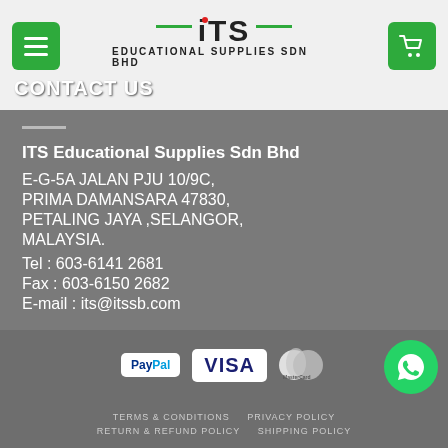ITS Educational Supplies Sdn Bhd - Contact Us
CONTACT US
ITS Educational Supplies Sdn Bhd
E-G-5A JALAN PJU 10/9C,
PRIMA DAMANSARA 47830,
PETALING JAYA ,SELANGOR,
MALAYSIA.
Tel : 603-6141 2681
Fax : 603-6150 2682
E-mail : its@itssb.com
[Figure (logo): PayPal, VISA, MasterCard payment icons]
TERMS & CONDITIONS   PRIVACY POLICY   RETURN & REFUND POLICY   SHIPPING POLICY